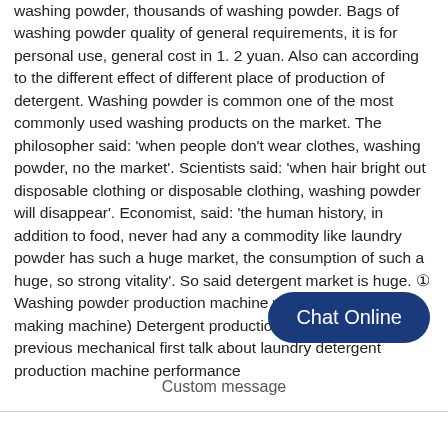washing powder, thousands of washing powder. Bags of washing powder quality of general requirements, it is for personal use, general cost in 1. 2 yuan. Also can according to the different effect of different place of production of detergent. Washing powder is common one of the most commonly used washing products on the market. The philosopher said: 'when people don't wear clothes, washing powder, no the market'. Scientists said: 'when hair bright out disposable clothing or disposable clothing, washing powder will disappear'. Economist, said: 'the human history, in addition to food, never had any a commodity like laundry powder has such a huge market, the consumption of such a huge, so strong vitality'. So said detergent market is huge. ① Washing powder production machine washing powder making machine) Detergent production factory house, the previous mechanical first talk about laundry detergent production machine performance
Chat Online
Custom message